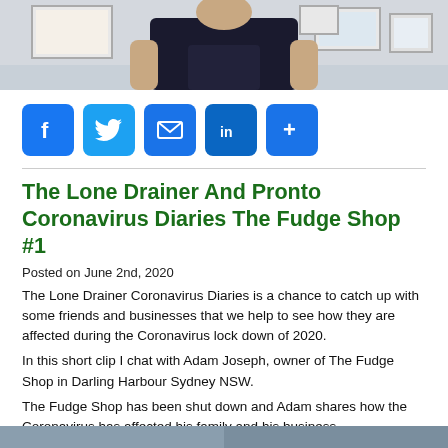[Figure (photo): Top portion of a photo showing a person in dark clothing standing in front of framed pictures on a wall]
[Figure (infographic): Social media share buttons: Facebook, Twitter, Email, LinkedIn, More]
The Lone Drainer And Pronto Coronavirus Diaries The Fudge Shop #1
Posted on June 2nd, 2020
The Lone Drainer Coronavirus Diaries is a chance to catch up with some friends and businesses that we help to see how they are affected during the Coronavirus lock down of 2020.
In this short clip I chat with Adam Joseph, owner of The Fudge Shop in Darling Harbour Sydney NSW.
The Fudge Shop has been shut down and Adam shares how the Coronavirus has affected his family and his business.
[Figure (photo): Bottom portion of another photo, partially visible at the bottom of the page]